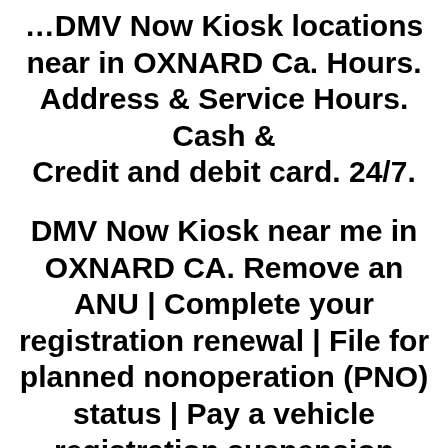DMV Now Kiosk locations near in OXNARD Ca. Hours. Address & Service Hours. Cash & Credit and debit card. 24/7.
DMV Now Kiosk near me in OXNARD CA. Remove an ANU | Complete your registration renewal | File for planned nonoperation (PNO) status | Pay a vehicle registration suspension reinstatement fee | Receive your